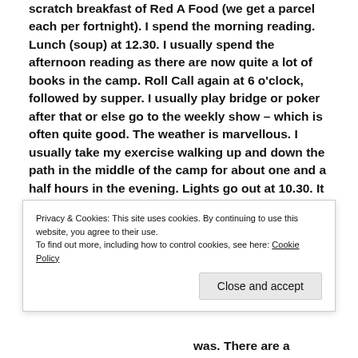scratch breakfast of Red A Food (we get a parcel each per fortnight). I spend the morning reading. Lunch (soup) at 12.30. I usually spend the afternoon reading as there are now quite a lot of books in the camp. Roll Call again at 6 o'clock, followed by supper. I usually play bridge or poker after that or else go to the weekly show – which is often quite good. The weather is marvellous. I usually take my exercise walking up and down the path in the middle of the camp for about one and a half hours in the evening. Lights go out at 10.30. It is as you see a simple life & so dull.'
[Figure (photo): Black and white photograph, partially visible at bottom of page]
was. There are a
Privacy & Cookies: This site uses cookies. By continuing to use this website, you agree to their use.
To find out more, including how to control cookies, see here: Cookie Policy
Close and accept